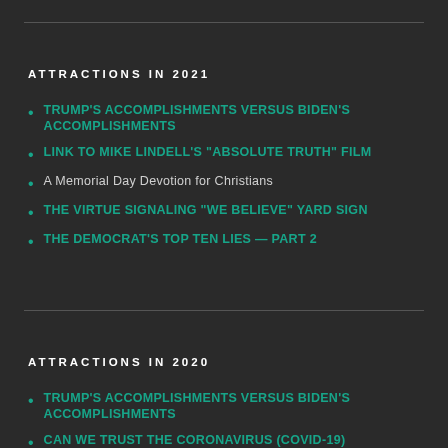ATTRACTIONS IN 2021
TRUMP'S ACCOMPLISHMENTS VERSUS BIDEN'S ACCOMPLISHMENTS
LINK TO MIKE LINDELL'S "ABSOLUTE TRUTH" FILM
A Memorial Day Devotion for Christians
THE VIRTUE SIGNALING "WE BELIEVE" YARD SIGN
THE DEMOCRAT'S TOP TEN LIES — PART 2
ATTRACTIONS IN 2020
TRUMP'S ACCOMPLISHMENTS VERSUS BIDEN'S ACCOMPLISHMENTS
CAN WE TRUST THE CORONAVIRUS (COVID-19)